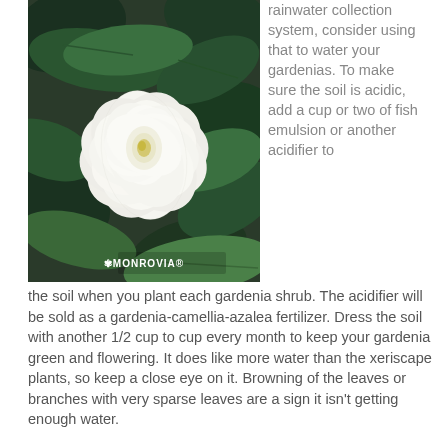[Figure (photo): Close-up photo of a white gardenia flower with green leaves in the background. Monrovia logo/watermark visible at bottom of photo.]
rainwater collection system, consider using that to water your gardenias. To make sure the soil is acidic, add a cup or two of fish emulsion or another acidifier to the soil when you plant each gardenia shrub. The acidifier will be sold as a gardenia-camellia-azalea fertilizer. Dress the soil with another 1/2 cup to cup every month to keep your gardenia green and flowering. It does like more water than the xeriscape plants, so keep a close eye on it. Browning of the leaves or branches with very sparse leaves are a sign it isn't getting enough water.